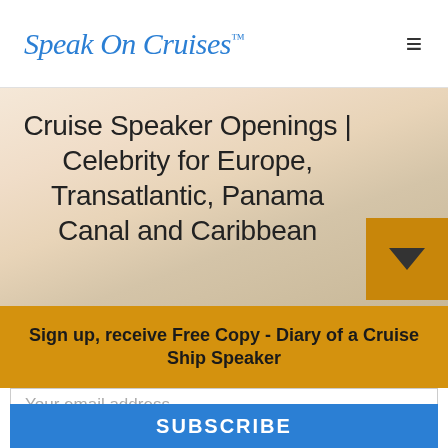Speak On Cruises™
[Figure (photo): Warm golden-orange ocean horizon background image with soft blurred seascape]
Cruise Speaker Openings | Celebrity for Europe, Transatlantic, Panama Canal and Caribbean
Sign up, receive Free Copy - Diary of a Cruise Ship Speaker
Your email address..
SUBSCRIBE